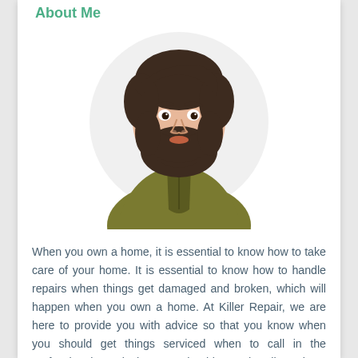About Me
[Figure (illustration): Cartoon avatar of a bearded man with dark brown hair wearing an olive/dark yellow jacket, shown from the shoulders up in a circular white background.]
When you own a home, it is essential to know how to take care of your home. It is essential to know how to handle repairs when things get damaged and broken, which will happen when you own a home. At Killer Repair, we are here to provide you with advice so that you know when you should get things serviced when to call in the professionals, and when you should try to handle projects on your own. Our objective is to allow you to approach all